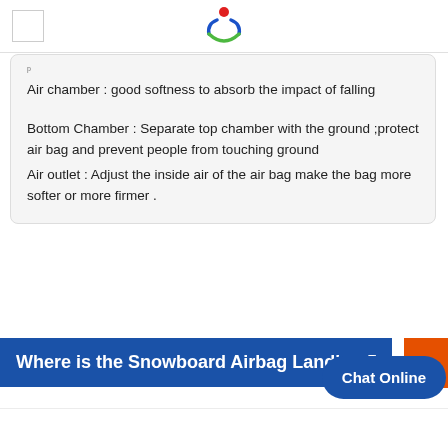[Figure (logo): Colorful logo with red dot on top and blue/green curved lines below, resembling a person figure]
Air chamber : good softness to absorb the impact of falling
Bottom Chamber : Separate top chamber with the ground ;protect air bag and prevent people from touching ground
Air outlet : Adjust the inside air of the air bag make the bag more softer or more firmer .
Where is the Snowboard Airbag Landing Pad
Chat Online